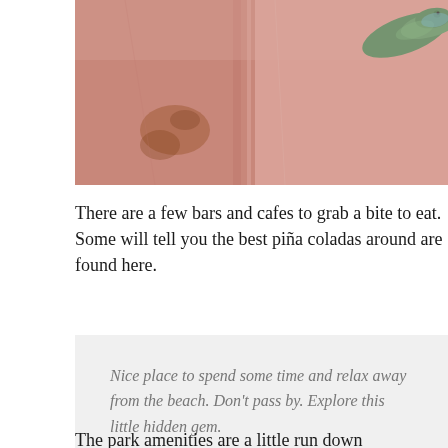[Figure (photo): Close-up photo of a green lizard/chameleon on a pink/terracotta textured wall surface, partially visible in upper right corner]
There are a few bars and cafes to grab a bite to eat. Some will tell you the best piña coladas around are found here.
Nice place to spend some time and relax away from the beach. Don't pass by. Explore this little hidden gem.
— T. K.
The park amenities are a little run down